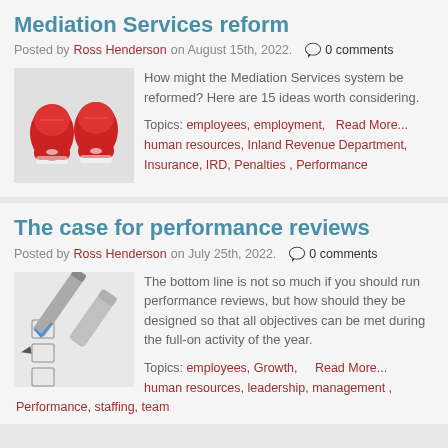Mediation Services reform
Posted by Ross Henderson on August 15th, 2022.  0 comments
[Figure (photo): Red boxing gloves raised]
How might the Mediation Services system be reformed? Here are 15 ideas worth considering.
Topics: employees, employment, Read More... human resources, Inland Revenue Department, Insurance, IRD, Penalties , Performance
The case for performance reviews
Posted by Ross Henderson on July 25th, 2022.  0 comments
[Figure (photo): Pen and checkbox checklist]
The bottom line is not so much if you should run performance reviews, but how should they be designed so that all objectives can be met during the full-on activity of the year.
Topics: employees, Growth, Read More... human resources, leadership, management , Performance, staffing, team